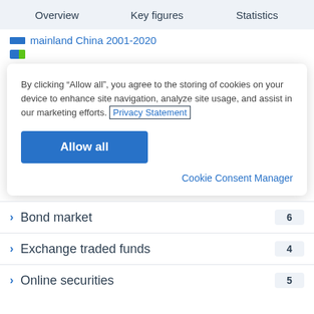Overview  Key figures  Statistics
mainland China 2001-2020
By clicking “Allow all”, you agree to the storing of cookies on your device to enhance site navigation, analyze site usage, and assist in our marketing efforts. Privacy Statement
Allow all
Cookie Consent Manager
Bond market  6
Exchange traded funds  4
Online securities  5